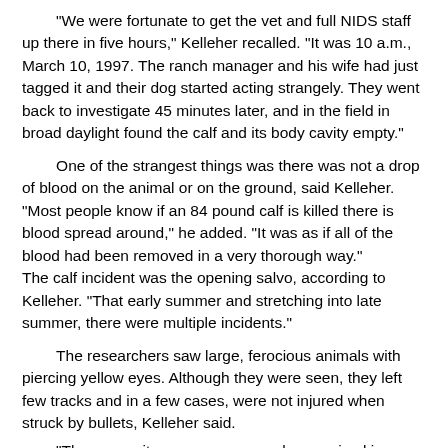"We were fortunate to get the vet and full NIDS staff up there in five hours," Kelleher recalled. "It was 10 a.m., March 10, 1997. The ranch manager and his wife had just tagged it and their dog started acting strangely. They went back to investigate 45 minutes later, and in the field in broad daylight found the calf and its body cavity empty."
One of the strangest things was there was not a drop of blood on the animal or on the ground, said Kelleher. "Most people know if an 84 pound calf is killed there is blood spread around," he added. "It was as if all of the blood had been removed in a very thorough way." The calf incident was the opening salvo, according to Kelleher. "That early summer and stretching into late summer, there were multiple incidents."
The researchers saw large, ferocious animals with piercing yellow eyes. Although they were seen, they left few tracks and in a few cases, were not injured when struck by bullets, Kelleher said.
"Three eyewitnesses saw a very large animal in a tree and also another large animal at the base of the tree," which was shot but never found, he said.
"We had videotape equipment, night vision equipment," Kelleher